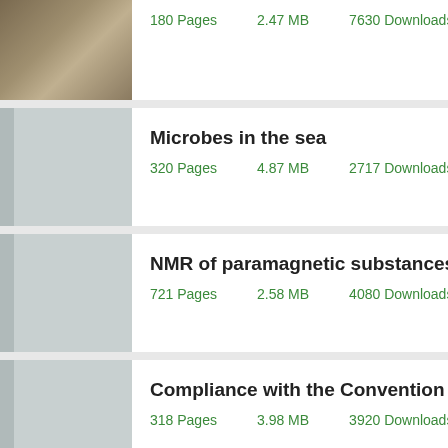180 Pages   2.47 MB   7630 Downloads   Format: PDF/EPUB
Microbes in the sea
320 Pages   4.87 MB   2717 Downloads   Format: EPUB
NMR of paramagnetic substances
721 Pages   2.58 MB   4080 Downloads   Format: EPUB
Compliance with the Convention on the Chamizal.
318 Pages   3.98 MB   3920 Downloads   Format: EPUB